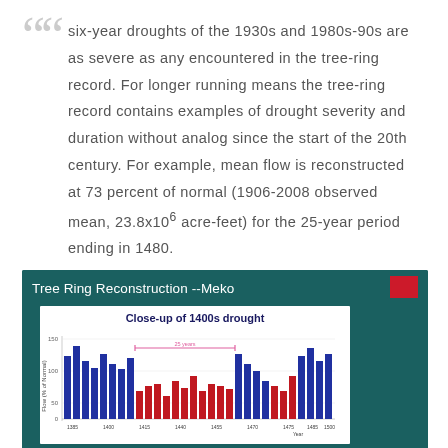six-year droughts of the 1930s and 1980s-90s are as severe as any encountered in the tree-ring record. For longer running means the tree-ring record contains examples of drought severity and duration without analog since the start of the 20th century. For example, mean flow is reconstructed at 73 percent of normal (1906-2008 observed mean, 23.8x10^6 acre-feet) for the 25-year period ending in 1480.
[Figure (bar-chart): Bar chart showing tree ring reconstruction data (Flow % of Normal) from approximately 1385 to 1500, highlighting a 25-year drought period in the 1400s. Bars are blue for above-average periods and red for drought years. A pink bracket indicates the 25-year drought period.]